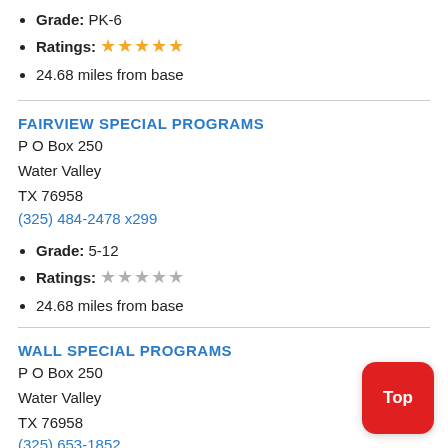Grade: PK-6
Ratings: ★★★★★ (gold, 5 stars)
24.68 miles from base
FAIRVIEW SPECIAL PROGRAMS
P O Box 250
Water Valley
TX 76958
(325) 484-2478 x299
Grade: 5-12
Ratings: ★★★★★ (gray, 5 stars)
24.68 miles from base
WALL SPECIAL PROGRAMS
P O Box 250
Water Valley
TX 76958
(325) 653-1852